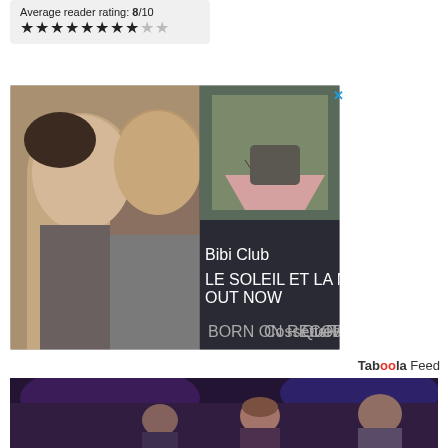Average reader rating: 8/10 ★★★★★★★★☆☆
[Figure (photo): Advertisement for Bibi Club - Le Soleil Et La Mer album, showing two people facing camera on left half and abstract art on right, with text 'Bibi Club', 'LE SOLEIL ET LA MER', 'OUT NOW' on dark background]
Taboola Feed
[Figure (photo): Crowd of people at what appears to be a concert or nightclub event, with purple/blue lighting]